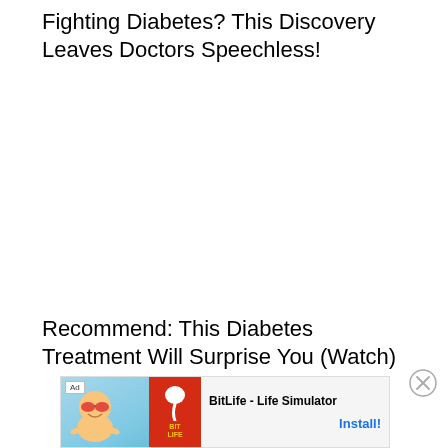Fighting Diabetes? This Discovery Leaves Doctors Speechless!
Recommend: This Diabetes Treatment Will Surprise You (Watch)
[Figure (other): Close/dismiss button (X circle icon) for advertisement overlay]
[Figure (other): Ad banner for BitLife - Life Simulator app with install button. Contains animated cartoon character, orange/red BitLife logo area with sperm icon, and Install! call-to-action link.]